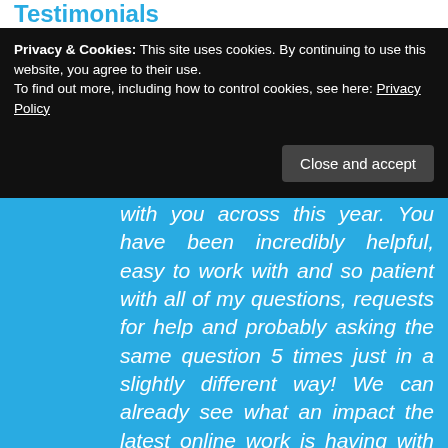Testimonials
Privacy & Cookies: This site uses cookies. By continuing to use this website, you agree to their use.
To find out more, including how to control cookies, see here: Privacy Policy
Close and accept
with you across this year. You have been incredibly helpful, easy to work with and so patient with all of my questions, requests for help and probably asking the same question 5 times just in a slightly different way! We can already see what an impact the latest online work is having with our website traffic, something that we have